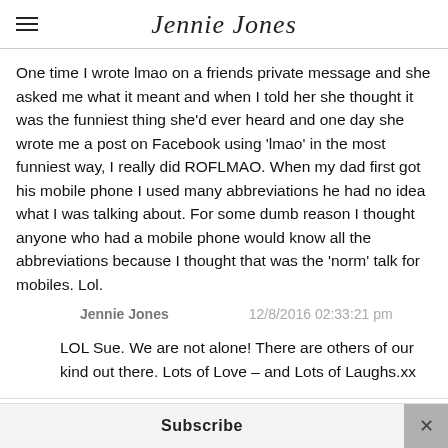Jennie Jones
One time I wrote lmao on a friends private message and she asked me what it meant and when I told her she thought it was the funniest thing she'd ever heard and one day she wrote me a post on Facebook using 'lmao' in the most funniest way, I really did ROFLMAO. When my dad first got his mobile phone I used many abbreviations he had no idea what I was talking about. For some dumb reason I thought anyone who had a mobile phone would know all the abbreviations because I thought that was the 'norm' talk for mobiles. Lol.
Jennie Jones   12/8/2016 02:33:21 pm
LOL Sue. We are not alone! There are others of our kind out there. Lots of Love – and Lots of Laughs.xx
Subscribe